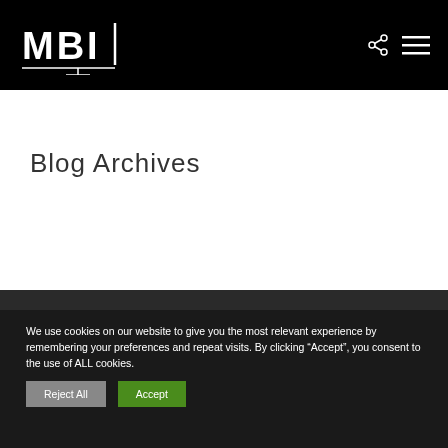MBI
Blog Archives
We use cookies on our website to give you the most relevant experience by remembering your preferences and repeat visits. By clicking “Accept”, you consent to the use of ALL cookies.
Reject All
Accept